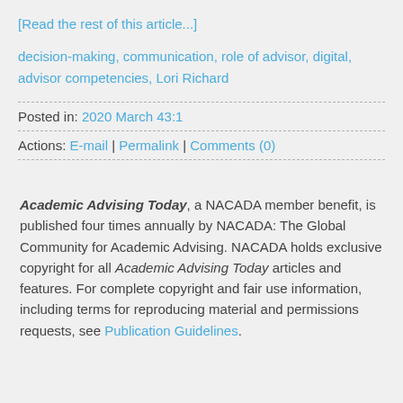[Read the rest of this article...]
decision-making, communication, role of advisor, digital, advisor competencies, Lori Richard
Posted in: 2020 March 43:1
Actions: E-mail | Permalink | Comments (0)
Academic Advising Today, a NACADA member benefit, is published four times annually by NACADA: The Global Community for Academic Advising. NACADA holds exclusive copyright for all Academic Advising Today articles and features. For complete copyright and fair use information, including terms for reproducing material and permissions requests, see Publication Guidelines.